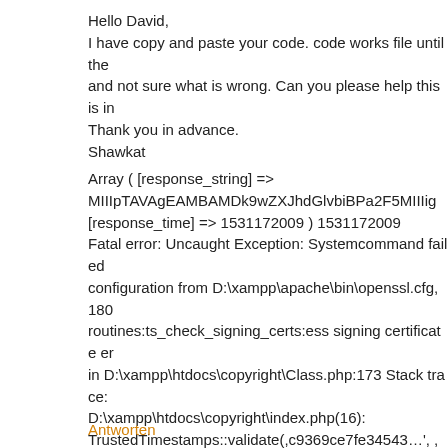Hello David,
I have copy and paste your code. code works file until the and not sure what is wrong. Can you please help this is in Thank you in advance.
Shawkat
Array ( [response_string] => MIIIpTAVAgEAMBAMDk9wZXJhdGlvbiBPa2F5MIIIig [response_time] => 1531172009 ) 1531172009 Fatal error: Uncaught Exception: Systemcommand failed configuration from D:\xampp\apache\bin\openssl.cfg, 180 routines:ts_check_signing_certs:ess signing certificate er in D:\xampp\htdocs\copyright\Class.php:173 Stack trace: D:\xampp\htdocs\copyright\index.php(16): TrustedTimestamps::validate(,c9369ce7fe34543…', ,MII 1531172009, ,chain.txt') #1 {main} thrown in D:\xampp\ line 173
Antworten